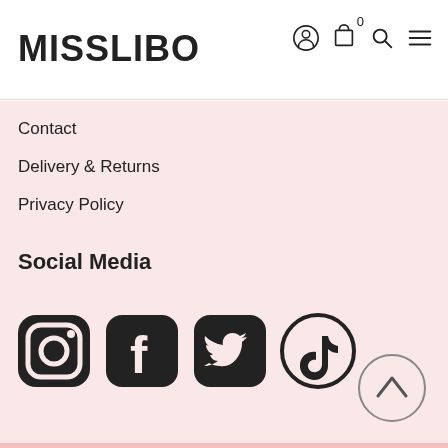MISSLIBO
Contact
Delivery & Returns
Privacy Policy
Social Media
[Figure (other): Social media icons: Instagram, Facebook, Twitter, TikTok]
[Figure (other): Back to top button with upward chevron]